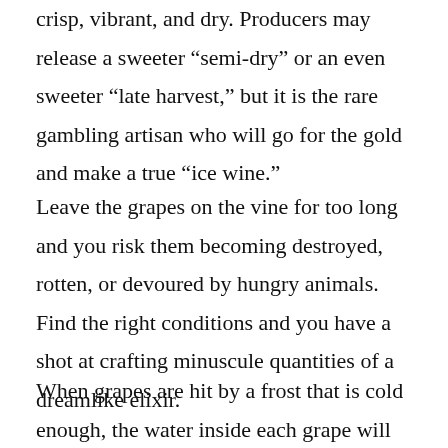crisp, vibrant, and dry. Producers may release a sweeter “semi-dry” or an even sweeter “late harvest,” but it is the rare gambling artisan who will go for the gold and make a true “ice wine.”
Leave the grapes on the vine for too long and you risk them becoming destroyed, rotten, or devoured by hungry animals. Find the right conditions and you have a shot at crafting minuscule quantities of a dreamlike elixir.
When grapes are hit by a frost that is cold enough, the water inside each grape will freeze. If that